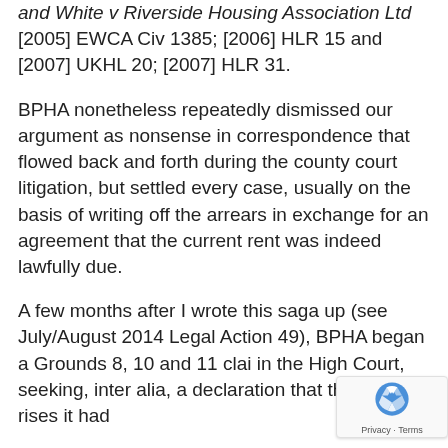and White v Riverside Housing Association Ltd [2005] EWCA Civ 1385; [2006] HLR 15 and [2007] UKHL 20; [2007] HLR 31.
BPHA nonetheless repeatedly dismissed our argument as nonsense in correspondence that flowed back and forth during the county court litigation, but settled every case, usually on the basis of writing off the arrears in exchange for an agreement that the current rent was indeed lawfully due.
A few months after I wrote this saga up (see July/August 2014 Legal Action 49), BPHA began a Grounds 8, 10 and 11 clai in the High Court, seeking, inter alia, a declaration that the rent rises it had